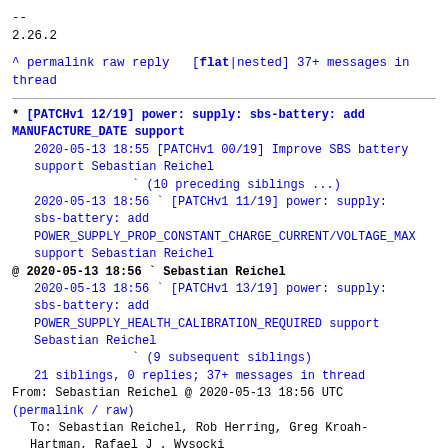--
2.26.2
^ permalink raw reply  [flat|nested] 37+ messages in thread
* [PATCHv1 12/19] power: supply: sbs-battery: add MANUFACTURE_DATE support
  2020-05-13 18:55 [PATCHv1 00/19] Improve SBS battery support Sebastian Reichel
                   ` (10 preceding siblings ...)
  2020-05-13 18:56 ` [PATCHv1 11/19] power: supply: sbs-battery: add POWER_SUPPLY_PROP_CONSTANT_CHARGE_CURRENT/VOLTAGE_MAX support Sebastian Reichel
@ 2020-05-13 18:56 ` Sebastian Reichel
  2020-05-13 18:56 ` [PATCHv1 13/19] power: supply: sbs-battery: add POWER_SUPPLY_HEALTH_CALIBRATION_REQUIRED support Sebastian Reichel
                   ` (9 subsequent siblings)
  21 siblings, 0 replies; 37+ messages in thread
From: Sebastian Reichel @ 2020-05-13 18:56 UTC
(permalink / raw)
  To: Sebastian Reichel, Rob Herring, Greg Kroah-Hartman, Rafael J . Wysocki
  Cc: linux-pm, devicetree, linux-kernel, kernel, Sebastian Reichel